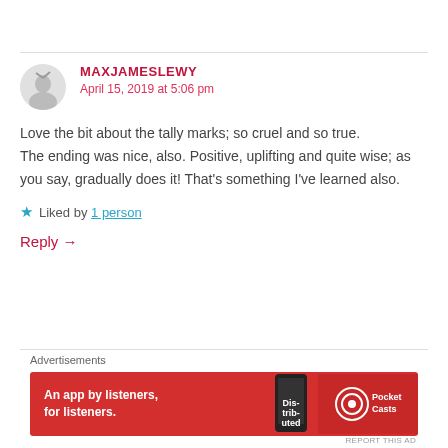MAXJAMESLEWY
April 15, 2019 at 5:06 pm
Love the bit about the tally marks; so cruel and so true.
The ending was nice, also. Positive, uplifting and quite wise; as you say, gradually does it! That’s something I’ve learned also.
Liked by 1 person
Reply →
Advertisements
[Figure (infographic): Red Pocket Casts advertisement banner: 'An app by listeners, for listeners.' with phone graphic and Pocket Casts logo]